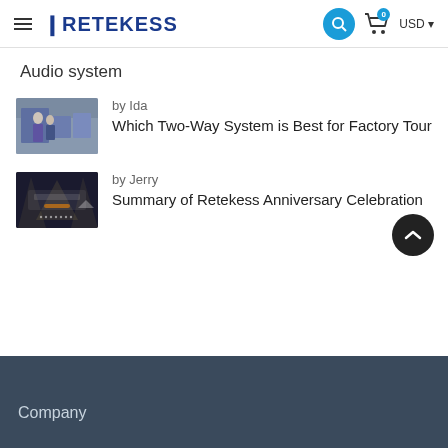RETEKESS
Audio system
[Figure (photo): Thumbnail image of two people in a factory or showroom setting with equipment displays]
by Ida
Which Two-Way System is Best for Factory Tour
[Figure (photo): Dark-themed event banner for Retekess Anniversary Celebration]
by Jerry
Summary of Retekess Anniversary Celebration
Company